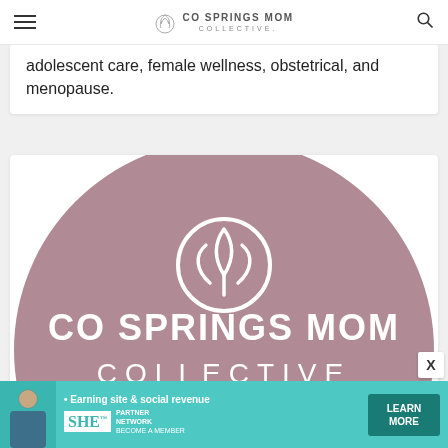CO SPRINGS MOM COLLECTIVE
adolescent care, female wellness, obstetrical, and menopause.
[Figure (logo): Co Springs Mom Collective logo: mauve/dusty rose circle with white tulip/flower icon and white text reading CO SPRINGS MOM on one line and COLLECTIVE below]
[Figure (infographic): SHE Partner Network advertisement banner with teal background, text 'Earning site & social revenue', SHE logo, and LEARN MORE button]